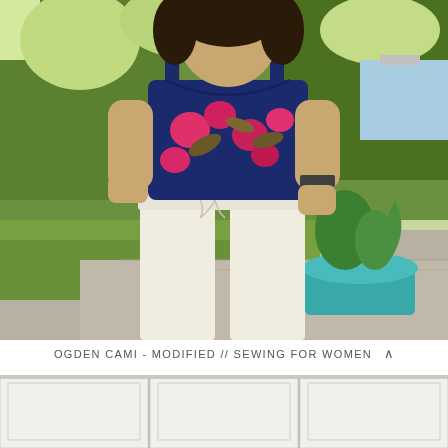[Figure (photo): Woman standing outdoors wearing a navy blue floral cami top and wide-leg cream/white pants with a drawstring waist, with green trees and a teal flower pot in the background on a patio]
OGDEN CAMI - MODIFIED // SEWING FOR WOMEN
[Figure (photo): Partial view of white kitchen cabinets with panel detailing]